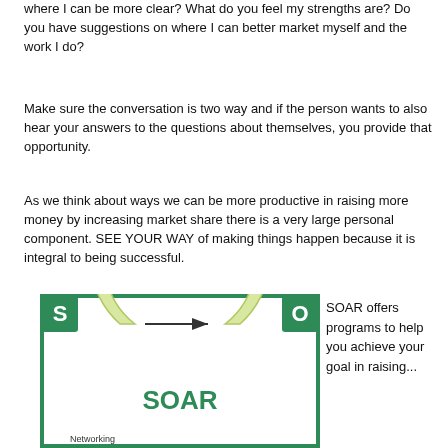where I can be more clear? What do you feel my strengths are? Do you have suggestions on where I can better market myself and the work I do?
Make sure the conversation is two way and if the person wants to also hear your answers to the questions about themselves, you provide that opportunity.
As we think about ways we can be more productive in raising more money by increasing market share there is a very large personal component. SEE YOUR WAY of making things happen because it is integral to being successful.
[Figure (infographic): SOAR diagram showing a circular arrow (horseshoe shape) in light yellow-green with the word SOAR in green in the center. Green square border with S in top-left corner and O in top-right corner. Label 'Networking' at the bottom-left inside the diagram. An arrow points rightward across the top of the circle.]
SOAR offers programs to help you achieve your goal in raising...